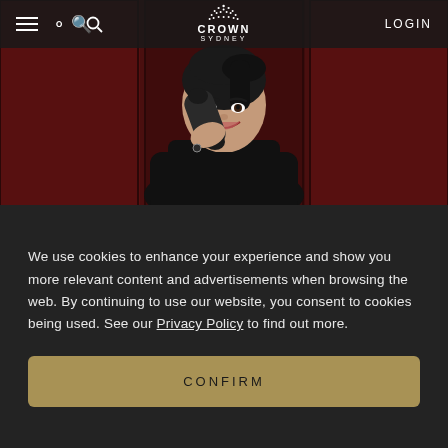Crown Sydney — LOGIN
[Figure (photo): A smiling woman in a black jacket holding a telephone handset to her ear, in front of a dark red patterned background.]
We use cookies to enhance your experience and show you more relevant content and advertisements when browsing the web. By continuing to use our website, you consent to cookies being used. See our Privacy Policy to find out more.
CONFIRM